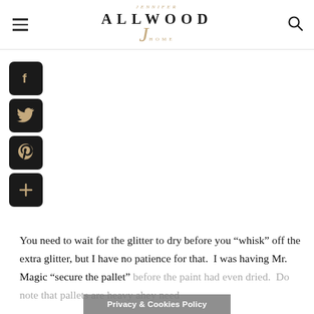Jennifer Allwood Home
[Figure (logo): Jennifer Allwood Home logo with stylized script J and serif ALLWOOD text]
[Figure (infographic): Social media share buttons: Facebook, Twitter, Pinterest, and a plus/share button, arranged vertically in black rounded squares with gold icons]
You need to wait for the glitter to dry before you “whisk” off the extra glitter, but I have no patience for that.  I was having Mr. Magic “secure the pallet” before the paint had even dried.  Do note that pallets are heavy a…hey need
Privacy & Cookies Policy